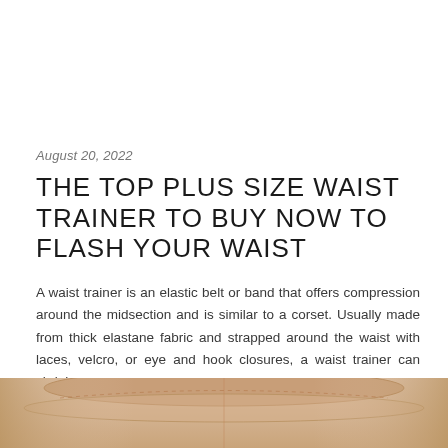August 20, 2022
THE TOP PLUS SIZE WAIST TRAINER TO BUY NOW TO FLASH YOUR WAIST
A waist trainer is an elastic belt or band that offers compression around the midsection and is similar to a corset. Usually made from thick elastane fabric and strapped around the waist with laces, velcro, or eye and hook closures, a waist trainer can shrink …
Plus size, shopping, Waist Trainer  -  by Kelly  -  0 Comments
[Figure (photo): Bottom portion of a photo showing a beige/nude colored waist trainer or corset garment]